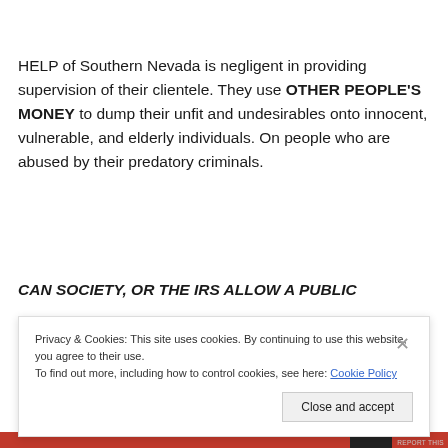HELP of Southern Nevada is negligent in providing supervision of their clientele. They use OTHER PEOPLE'S MONEY to dump their unfit and undesirables onto innocent, vulnerable, and elderly individuals. On people who are abused by their predatory criminals.
CAN SOCIETY, OR THE IRS ALLOW A PUBLIC INTEREST ORGANIZATION TO BRING HOMELESS
Privacy & Cookies: This site uses cookies. By continuing to use this website, you agree to their use.
To find out more, including how to control cookies, see here: Cookie Policy